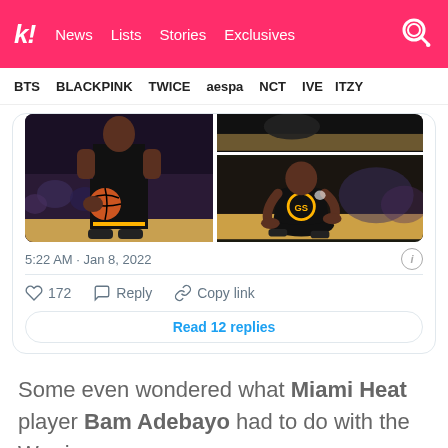koreaboo | News | Lists | Stories | Exclusives
BTS | BLACKPINK | TWICE | aespa | NCT | IVE | ITZY
[Figure (photo): Two basketball photos side by side: left shows a Golden State Warriors player holding a basketball in dark jersey; right shows another Warriors player crouching on the court in dark jersey with gold logo]
5:22 AM · Jan 8, 2022
172   Reply   Copy link
Read 12 replies
Some even wondered what Miami Heat player Bam Adebayo had to do with the Warriors.